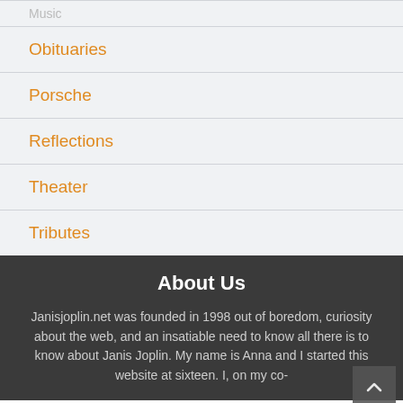Music
Obituaries
Porsche
Reflections
Theater
Tributes
About Us
Janisjoplin.net was founded in 1998 out of boredom, curiosity about the web, and an insatiable need to know all there is to know about Janis Joplin. My name is Anna and I started this website at sixteen. I, on my co-